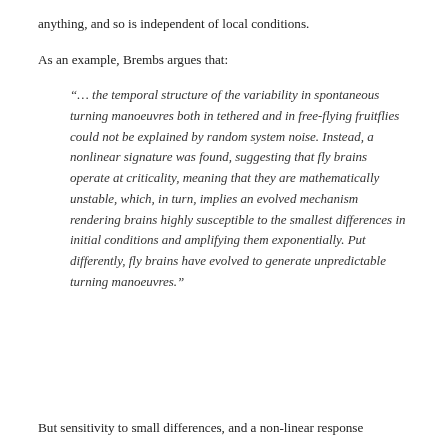anything, and so is independent of local conditions.
As an example, Brembs argues that:
“… the temporal structure of the variability in spontaneous turning manoeuvres both in tethered and in free-flying fruitflies could not be explained by random system noise. Instead, a nonlinear signature was found, suggesting that fly brains operate at criticality, meaning that they are mathematically unstable, which, in turn, implies an evolved mechanism rendering brains highly susceptible to the smallest differences in initial conditions and amplifying them exponentially. Put differently, fly brains have evolved to generate unpredictable turning manoeuvres.”
But sensitivity to small differences, and a non-linear response